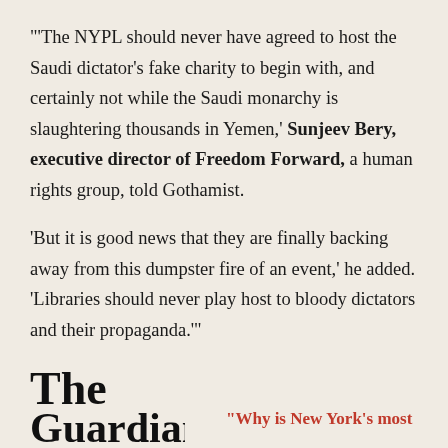"'The NYPL should never have agreed to host the Saudi dictator's fake charity to begin with, and certainly not while the Saudi monarchy is slaughtering thousands in Yemen,' Sunjeev Bery, executive director of Freedom Forward, a human rights group, told Gothamist.
'But it is good news that they are finally backing away from this dumpster fire of an event,' he added. 'Libraries should never play host to bloody dictators and their propaganda.'"'
[Figure (logo): The Guardian newspaper logo in black serif font]
"Why is New York's most